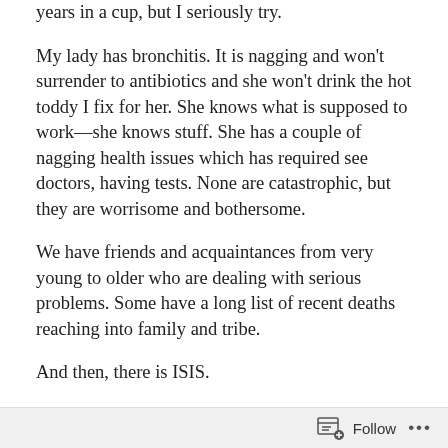years in a cup, but I seriously try.
My lady has bronchitis. It is nagging and won't surrender to antibiotics and she won't drink the hot toddy I fix for her. She knows what is supposed to work—she knows stuff. She has a couple of nagging health issues which has required see doctors, having tests. None are catastrophic, but they are worrisome and bothersome.
We have friends and acquaintances from very young to older who are dealing with serious problems. Some have a long list of recent deaths reaching into family and tribe.
And then, there is ISIS.
The past few days have aggravated a constant question. How do I pray for these people? I say, “Jesus, be with Carole this morning, heal the cause of her cough. Attend
Follow ···